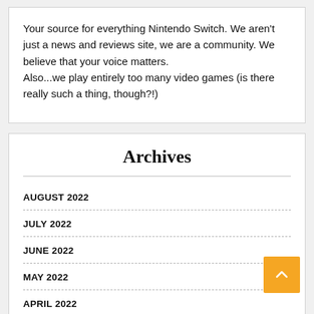Your source for everything Nintendo Switch. We aren't just a news and reviews site, we are a community. We believe that your voice matters.
Also...we play entirely too many video games (is there really such a thing, though?!)
Archives
AUGUST 2022
JULY 2022
JUNE 2022
MAY 2022
APRIL 2022